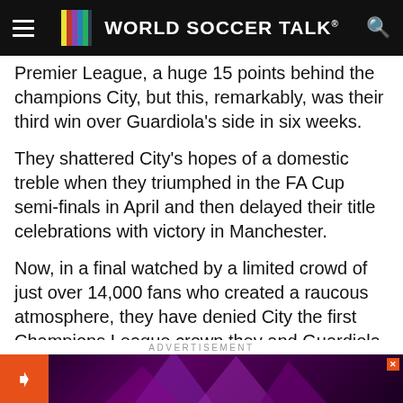WORLD SOCCER TALK®
Premier League, a huge 15 points behind the champions City, but this, remarkably, was their third win over Guardiola's side in six weeks.
They shattered City's hopes of a domestic treble when they triumphed in the FA Cup semi-finals in April and then delayed their title celebrations with victory in Manchester.
Now, in a final watched by a limited crowd of just over 14,000 fans who created a raucous atmosphere, they have denied City the first Champions League crown they and Guardiola so crave.
ADVERTISEMENT